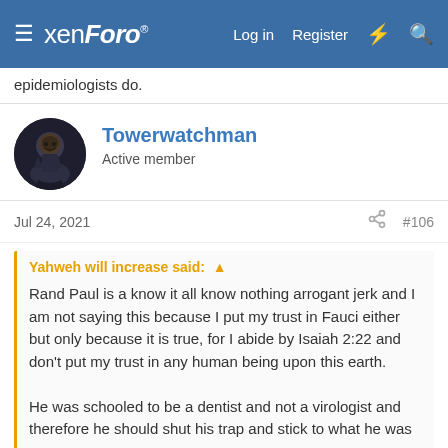xenForo — Log in | Register
epidemiologists do.
Towerwatchman
Active member
Jul 24, 2021  #106
Yahweh will increase said: ↑
Rand Paul is a know it all know nothing arrogant jerk and I am not saying this because I put my trust in Fauci either but only because it is true, for I abide by Isaiah 2:22 and don't put my trust in any human being upon this earth.

He was schooled to be a dentist and not a virologist and therefore he should shut his trap and stick to what he was
Rand Paul being a dentist and arrogant has no impact on the fact that fauci lied, funded the lab that created this virus, and did everything he could to hide his involvement. The very man that the country trusted to help us through this hid the fact that he is